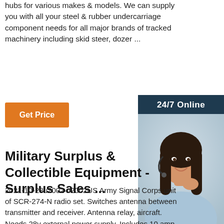hubs for various makes & models. We can supply you with all your steel & rubber undercarriage component needs for all major brands of tracked machinery including skid steer, dozer ...
[Figure (other): Orange 'Get Price' button]
[Figure (other): Sidebar widget with '24/7 Online' header, photo of woman with headset, 'Click here for free chat!' text, and orange QUOTATION button]
Military Surplus & Collectible Equipment - Surplus Sales ...
2021-10-28u2002·u2002US Army Signal Corps unit of SCR-274-N radio set. Switches antenna between transmitter and receiver. Antenna relay, aircraft. Needs 28v external power supply. Includes 10 amp ammeter in line. Spring post terminals. 5'L x 4.25'W x 3.75'H. 1940+ World War II. New, old stock. Museum quality. Aka: